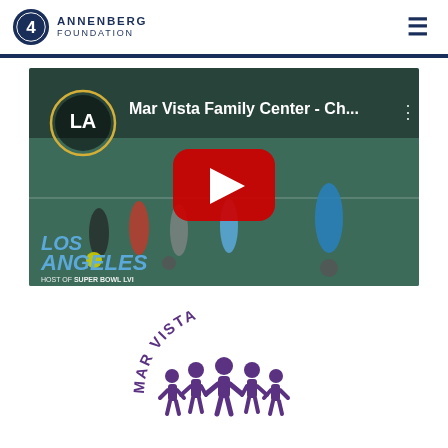[Figure (logo): Annenberg Foundation logo: circular blue logo with '4' and 'A' shape, with text ANNENBERG FOUNDATION to the right]
[Figure (screenshot): YouTube video thumbnail showing children playing soccer on a court with the title 'Mar Vista Family Center - Ch...' and a large red play button in the center. Los Angeles Super Bowl LVI Champions Live Here branding visible at bottom left.]
[Figure (logo): Mar Vista Family Center logo: purple text 'MAR VISTA' in arc above a group of purple stylized human figures holding hands in a circle]